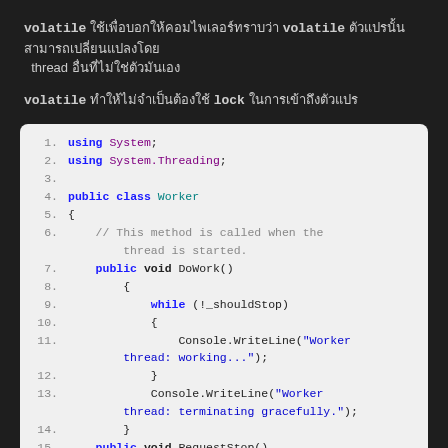volatile ใช้เพื่อบอกให้คอมไพเลอร์ทราบว่า volatile ตัวแปรนั้นสามารถเปลี่ยนแปลงโดย thread อื่นที่ไม่ใช่ตัวมันเอง
volatile ทำให้ไม่จำเป็นต้องใช้ lock ในการเข้าถึงตัวแปร
[Figure (screenshot): C# code snippet showing a Worker class with using System; using System.Threading; public class Worker with DoWork() method containing a while loop that checks !_shouldStop and writes to console, plus RequestStop() method header. Lines 1-15 shown with syntax highlighting on dark background.]